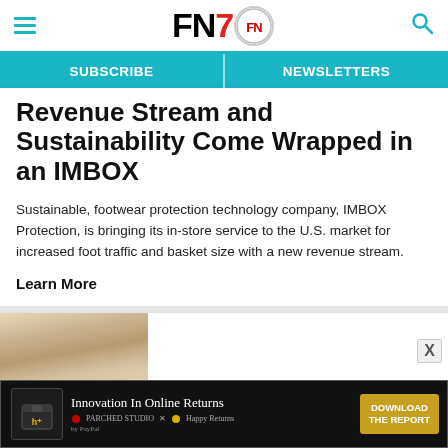FN7 — Footwear News logo header with hamburger menu and search icon
SUBSCRIBE | NEWSLETTERS
Revenue Stream and Sustainability Come Wrapped in an IMBOX
Sustainable, footwear protection technology company, IMBOX Protection, is bringing its in-store service to the U.S. market for increased foot traffic and basket size with a new revenue stream.
Learn More
[Figure (photo): Partial photo of a person with blonde hair visible at bottom of page]
[Figure (other): Advertisement banner: Innovation In Online Returns — DOWNLOAD THE REPORT, featuring a black box with h+ logo, Parched Studio x Happy Returns branding]